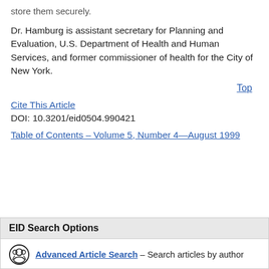store them securely.
Dr. Hamburg is assistant secretary for Planning and Evaluation, U.S. Department of Health and Human Services, and former commissioner of health for the City of New York.
Top
Cite This Article
DOI: 10.3201/eid0504.990421
Table of Contents – Volume 5, Number 4—August 1999
EID Search Options
Advanced Article Search – Search articles by author